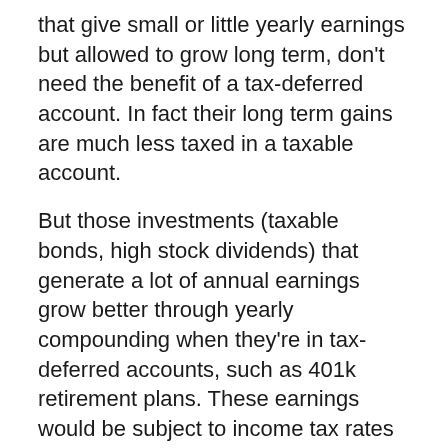that give small or little yearly earnings but allowed to grow long term, don't need the benefit of a tax-deferred account. In fact their long term gains are much less taxed in a taxable account.
But those investments (taxable bonds, high stock dividends) that generate a lot of annual earnings grow better through yearly compounding when they're in tax-deferred accounts, such as 401k retirement plans. These earnings would be subject to income tax rates if left in a taxable account. So if we're going to let them grow, we'll keep those in a tax-deferred account. If we withdraw earnings, we lose nothing by keeping them in a tax-deferred account.
Allocating investments among account type
So we should decide how we assign our asset allocation